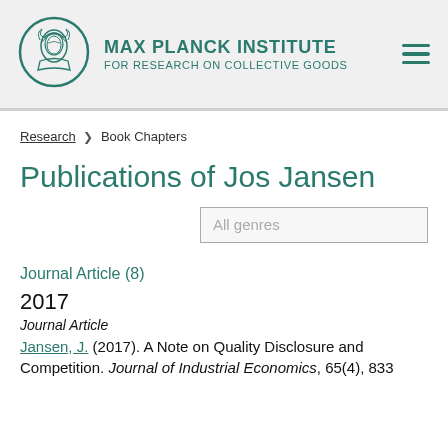[Figure (logo): Max Planck Institute for Research on Collective Goods logo with circular emblem and institution name]
Research ❯ Book Chapters
Publications of Jos Jansen
All genres
Journal Article (8)
2017
Journal Article
Jansen, J. (2017). A Note on Quality Disclosure and Competition. Journal of Industrial Economics, 65(4), 833...